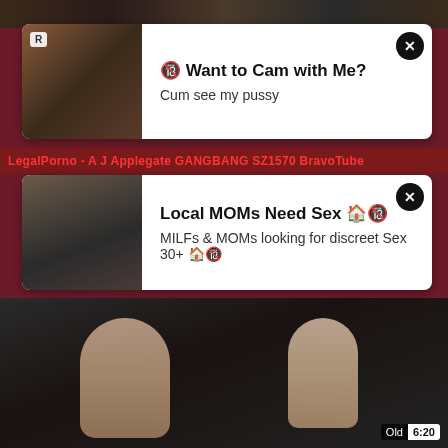[Figure (screenshot): Top strip with pornographic thumbnail images]
[Figure (screenshot): Advertisement card: Want to Cam with Me? Cum see my pussy]
LegalPorno - A J Applegate GANGBANG SZ1570 BravoTube
[Figure (screenshot): Advertisement card: Local MOMs Need Sex. MILFs & MOMs looking for discreet Sex 30+]
[Figure (photo): Main video thumbnail showing adult content, duration labeled Old 6:20]